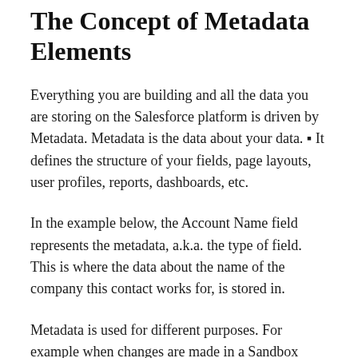The Concept of Metadata Elements
Everything you are building and all the data you are storing on the Salesforce platform is driven by Metadata. Metadata is the data about your data. ■ It defines the structure of your fields, page layouts, user profiles, reports, dashboards, etc.
In the example below, the Account Name field represents the metadata, a.k.a. the type of field. This is where the data about the name of the company this contact works for, is stored in.
Metadata is used for different purposes. For example when changes are made in a Sandbox